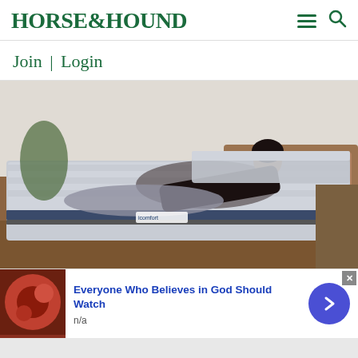HORSE&HOUND
Join | Login
[Figure (photo): Woman reclining on a luxury adjustable mattress (Icomfort brand) in a modern bedroom setting with a wood bed frame, grey bedding, and brick wall background.]
Everyone Who Believes in God Should Watch
n/a